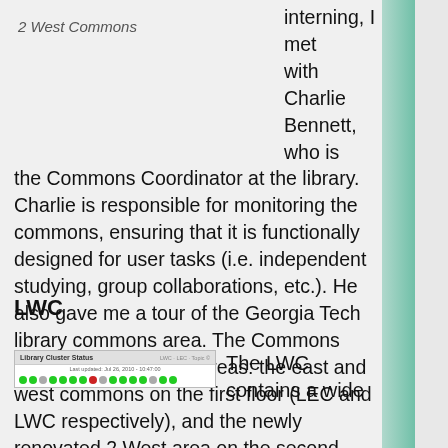2 West Commons
interning, I met with Charlie Bennett, who is the Commons Coordinator at the library. Charlie is responsible for monitoring the commons, ensuring that it is functionally designed for user tasks (i.e. independent studying, group collaborations, etc.). He also gave me a tour of the Georgia Tech library commons area. The Commons actually consists of 3 areas: the east and west commons on the first floor (LEC and LWC respectively), and the newly renovated 2 West area on the second floor.
LWC
[Figure (screenshot): Library Cluster Status interface showing a grid of colored dots (green, gray, red) representing computer availability in LWC clusters.]
The LWC contains a wide